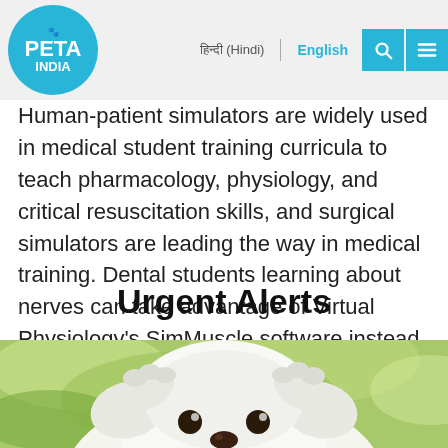PETA INDIA | हिन्दी (Hindi) | English
Human-patient simulators are widely used in medical student training curricula to teach pharmacology, physiology, and critical resuscitation skills, and surgical simulators are leading the way in medical training. Dental students learning about nerves can take advantage of Virtual Physiology's SimMuscle software instead of hurting animals.
Urgent Alerts
[Figure (photo): A white puppy dog looking upward at the camera, with a soft green blurred background, appearing to cover its ears with its paws.]